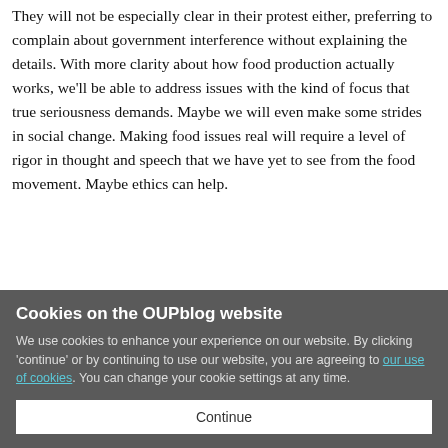They will not be especially clear in their protest either, preferring to complain about government interference without explaining the details. With more clarity about how food production actually works, we'll be able to address issues with the kind of focus that true seriousness demands. Maybe we will even make some strides in social change. Making food issues real will require a level of rigor in thought and speech that we have yet to see from the food movement. Maybe ethics can help.
Cookies on the OUPblog website
We use cookies to enhance your experience on our website. By clicking 'continue' or by continuing to use our website, you are agreeing to our use of cookies. You can change your cookie settings at any time.